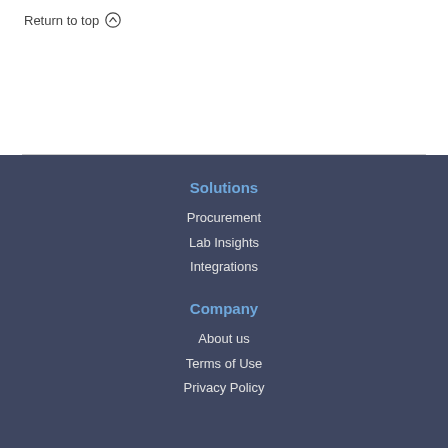Return to top ↑
Solutions
Procurement
Lab Insights
Integrations
Company
About us
Terms of Use
Privacy Policy